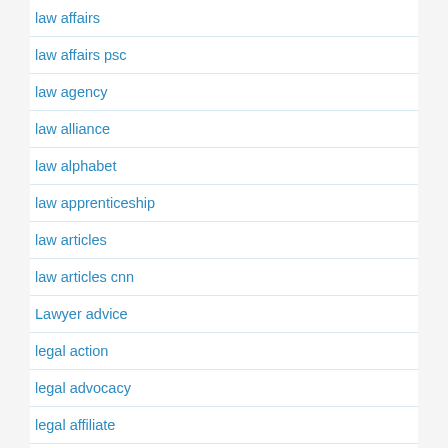law affairs
law affairs psc
law agency
law alliance
law alphabet
law apprenticeship
law articles
law articles cnn
Lawyer advice
legal action
legal advocacy
legal affiliate
legal analysis